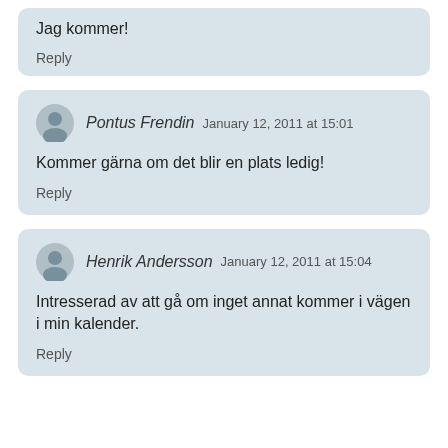Jag kommer!
Reply
Pontus Frendin January 12, 2011 at 15:01
Kommer gärna om det blir en plats ledig!
Reply
Henrik Andersson January 12, 2011 at 15:04
Intresserad av att gå om inget annat kommer i vägen i min kalender.
Reply